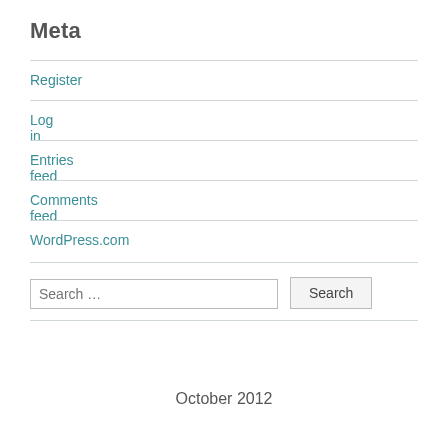Meta
Register
Log in
Entries feed
Comments feed
WordPress.com
Search …
October 2012